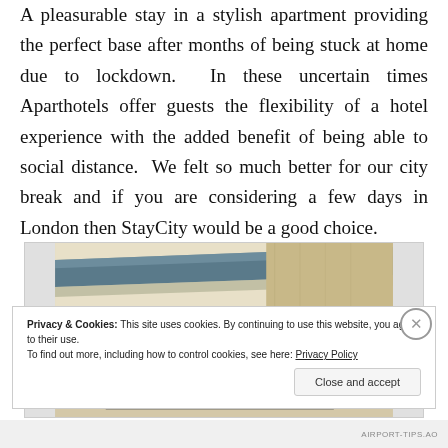A pleasurable stay in a stylish apartment providing the perfect base after months of being stuck at home due to lockdown. In these uncertain times Aparthotels offer guests the flexibility of a hotel experience with the added benefit of being able to social distance. We felt so much better for our city break and if you are considering a few days in London then StayCity would be a good choice.
[Figure (photo): Partial photo showing what appears to be a pen or stylus resting on a wooden or textured surface, partially visible behind a cookie consent overlay.]
Privacy & Cookies: This site uses cookies. By continuing to use this website, you agree to their use.
To find out more, including how to control cookies, see here: Privacy Policy
Close and accept
AIRPORT-TIPS.AO